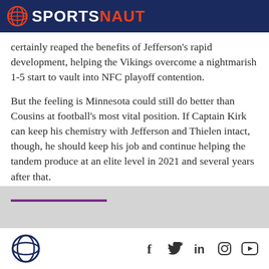SPORTSNAUT
certainly reaped the benefits of Jefferson’s rapid development, helping the Vikings overcome a nightmarish 1-5 start to vault into NFC playoff contention.
But the feeling is Minnesota could still do better than Cousins at football’s most vital position. If Captain Kirk can keep his chemistry with Jefferson and Thielen intact, though, he should keep his job and continue helping the tandem produce at an elite level in 2021 and several years after that.
Sportsnaut logo and social media icons (Facebook, Twitter, LinkedIn, Instagram, YouTube)